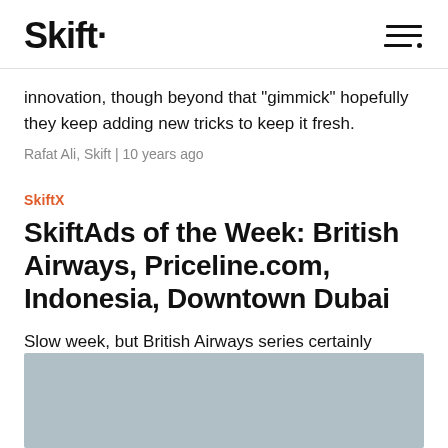Skift
innovation, though beyond that "gimmick" hopefully they keep adding new tricks to keep it fresh.
Rafat Ali, Skift | 10 years ago
SkiftX
SkiftAds of the Week: British Airways, Priceline.com, Indonesia, Downtown Dubai
Slow week, but British Airways series certainly breaks through.
Rafat Ali, Skift | 10 years ago
[Figure (photo): Gray placeholder image at bottom of page]